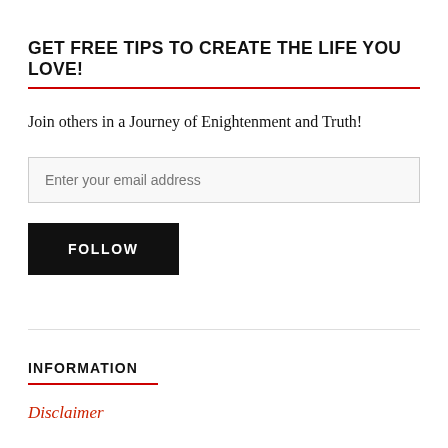GET FREE TIPS TO CREATE THE LIFE YOU LOVE!
Join others in a Journey of Enightenment and Truth!
Enter your email address
FOLLOW
INFORMATION
Disclaimer